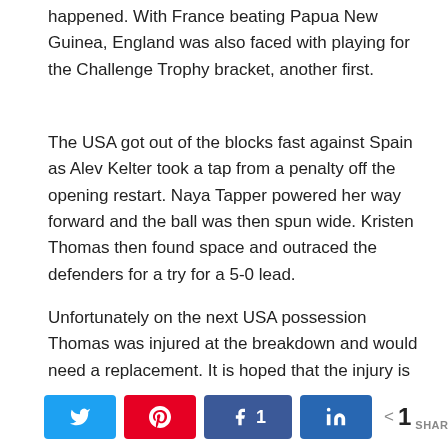happened. With France beating Papua New Guinea, England was also faced with playing for the Challenge Trophy bracket, another first.
The USA got out of the blocks fast against Spain as Alev Kelter took a tap from a penalty off the opening restart. Naya Tapper powered her way forward and the ball was then spun wide. Kristen Thomas then found space and outraced the defenders for a try for a 5-0 lead.
Unfortunately on the next USA possession Thomas was injured at the breakdown and would need a replacement. It is hoped that the injury is minor.
Prior to a substitution being made, Spain advanced into